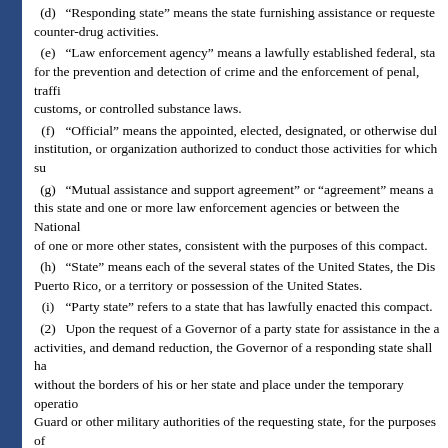(d) "Responding state" means the state furnishing assistance or requested counter-drug activities.
(e) "Law enforcement agency" means a lawfully established federal, state for the prevention and detection of crime and the enforcement of penal, traffic customs, or controlled substance laws.
(f) "Official" means the appointed, elected, designated, or otherwise duly institution, or organization authorized to conduct those activities for which su
(g) "Mutual assistance and support agreement" or "agreement" means an this state and one or more law enforcement agencies or between the National of one or more other states, consistent with the purposes of this compact.
(h) "State" means each of the several states of the United States, the Dis Puerto Rico, or a territory or possession of the United States.
(i) "Party state" refers to a state that has lawfully enacted this compact.
(2) Upon the request of a Governor of a party state for assistance in the a activities, and demand reduction, the Governor of a responding state shall ha without the borders of his or her state and place under the temporary operatio Guard or other military authorities of the requesting state, for the purposes o any part of the National Guard forces of his or her state as he or she may dee discretion in this regard shall be conclusive.
(3) The Governor of a party state may, within his or her discretion, with state from such use and recall any forces or part or member thereof previously
(4) The National Guard of this state is hereby authorized to engage in co reduction.